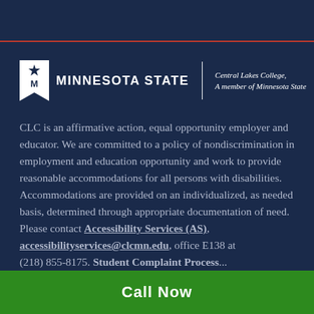[Figure (logo): Minnesota State logo with star/M emblem flag icon, vertical divider, and 'Central Lakes College, A member of Minnesota State' text]
CLC is an affirmative action, equal opportunity employer and educator.  We are committed to a policy of nondiscrimination in employment and education opportunity and work to provide reasonable accommodations for all persons with disabilities.  Accommodations are provided on an individualized, as needed basis, determined through appropriate documentation of need.  Please contact Accessibility Services (AS), accessibilityservices@clcmn.edu, office E138 at (218) 855-8175.  Student Complaint Process...
Call Now